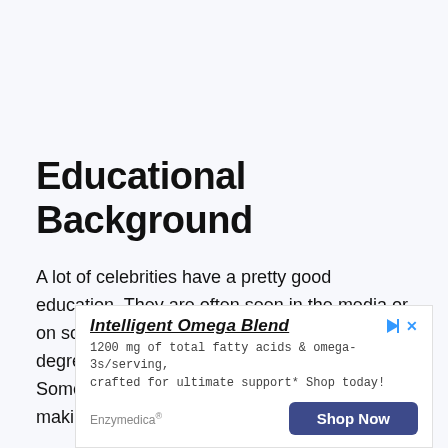Educational Background
A lot of celebrities have a pretty good education. They are often seen in the media or on social networking sites with their college degrees framed and hanging up on the wall. Some famous people even go to school after making it big, and some
[Figure (other): Advertisement banner for Enzymedica Intelligent Omega Blend supplement. Contains title 'Intelligent Omega Blend', body text '1200 mg of total fatty acids & omega-3s/serving, crafted for ultimate support* Shop today!', brand name 'Enzymedica®', and a 'Shop Now' button.]